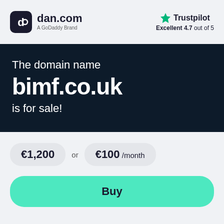[Figure (logo): dan.com logo — rounded square icon with stylized 'd' and 'c' letters, followed by 'dan.com' text and 'A GoDaddy Brand' subtitle]
[Figure (logo): Trustpilot logo with green star and 'Excellent 4.7 out of 5' rating]
The domain name bimf.co.uk is for sale!
€1,200 or €100 /month
Buy